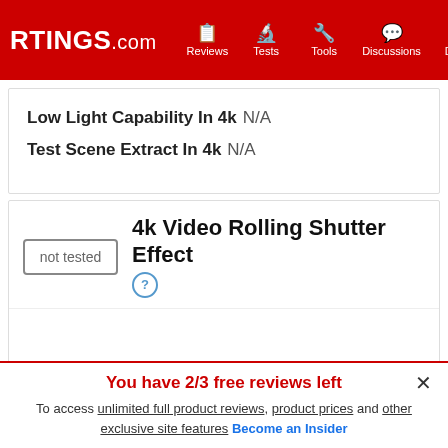RTINGS.com | Reviews | Tests | Tools | Discussions | Deals
Low Light Capability In 4k  N/A
Test Scene Extract In 4k  N/A
4k Video Rolling Shutter Effect
not tested
You have 2/3 free reviews left
To access unlimited full product reviews, product prices and other exclusive site features Become an Insider